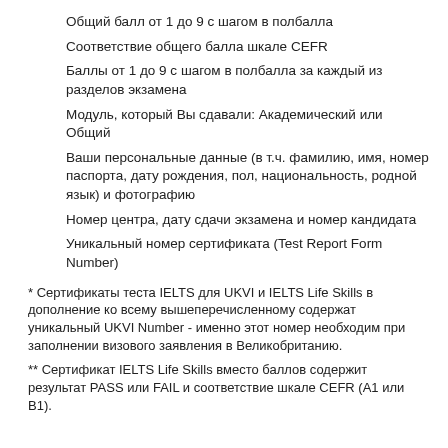Общий балл от 1 до 9 с шагом в полбалла
Соответствие общего балла шкале CEFR
Баллы от 1 до 9 с шагом в полбалла за каждый из разделов экзамена
Модуль, который Вы сдавали: Академический или Общий
Ваши персональные данные (в т.ч. фамилию, имя, номер паспорта, дату рождения, пол, национальность, родной язык) и фотографию
Номер центра, дату сдачи экзамена и номер кандидата
Уникальный номер сертификата (Test Report Form Number)
* Сертификаты теста IELTS для UKVI и IELTS Life Skills в дополнение ко всему вышеперечисленному содержат уникальный UKVI Number - именно этот номер необходим при заполнении визового заявления в Великобританию.
** Сертификат IELTS Life Skills вместо баллов содержит результат PASS или FAIL и соответствие шкале CEFR (А1 или B1).